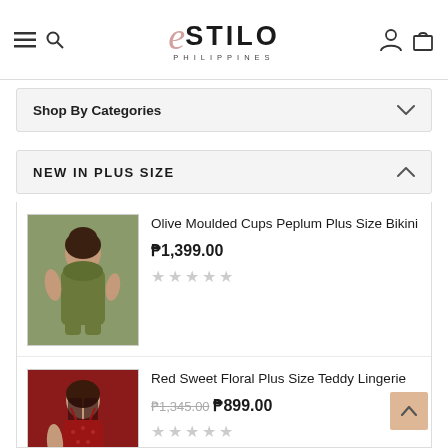Estilo Philippines — navigation header with hamburger menu, search, logo, user icon, and cart icon
Shop By Categories
NEW IN PLUS SIZE
[Figure (photo): Plus size model wearing an olive green halter bikini / swimsuit]
Olive Moulded Cups Peplum Plus Size Bikini
₱1,399.00
[Figure (photo): Plus size model wearing a red floral lace teddy lingerie]
Red Sweet Floral Plus Size Teddy Lingerie
₱1,345.00  ₱899.00